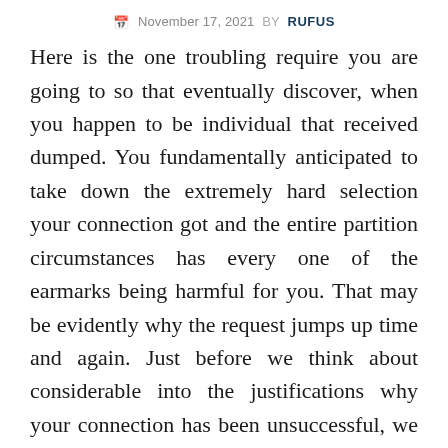November 17, 2021 BY RUFUS
Here is the one troubling require you are going to so that eventually discover, when you happen to be individual that received dumped. You fundamentally anticipated to take down the extremely hard selection your connection got and the entire partition circumstances has every one of the earmarks being harmful for you. That may be evidently why the request jumps up time and again. Just before we think about considerable into the justifications why your connection has been unsuccessful, we need to determine what this partnership meant for your ex lover. To discover through which class you're ex lover/playmate tumbles, you should just remember the study course in which your romantic relationship has